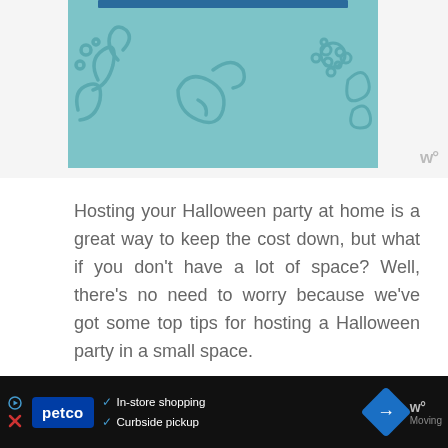[Figure (illustration): Teal/turquoise illustrated image with decorative organic shapes and swirls, partially visible at top of page. A small 'W°' logo appears to the right.]
Hosting your Halloween party at home is a great way to keep the cost down, but what if you don't have a lot of space? Well, there's no need to worry because we've got some top tips for hosting a Halloween party in a small space.
Get Rid of Any Clutter
The first thing you need to do to maximise your party space is get rid of all the clutter. Furniture
[Figure (infographic): Dark advertisement bar at bottom for Petco. Contains Petco logo, checkmarks for 'In-store shopping' and 'Curbside pickup', a blue navigation/direction icon, W° logo, and partial text 'Moving']